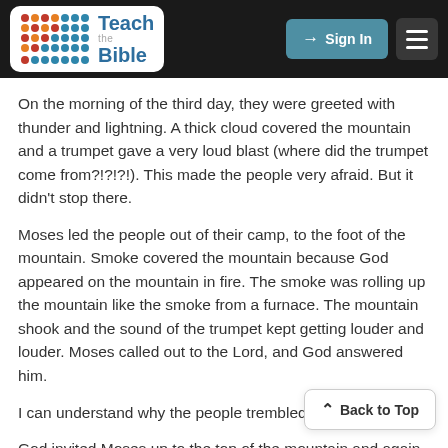Teach the Bible — Sign In
On the morning of the third day, they were greeted with thunder and lightning. A thick cloud covered the mountain and a trumpet gave a very loud blast (where did the trumpet come from?!?!?!). This made the people very afraid. But it didn't stop there.
Moses led the people out of their camp, to the foot of the mountain. Smoke covered the mountain because God appeared on the mountain in fire. The smoke was rolling up the mountain like the smoke from a furnace. The mountain shook and the sound of the trumpet kept getting louder and louder. Moses called out to the Lord, and God answered him.
I can understand why the people trembled in fear...
God invited Moses up to the top of the mountain and again warned him that the people should set themselves apart for God, and not approach the mountain. God then told him to go down and invite Aaron to come up with him.